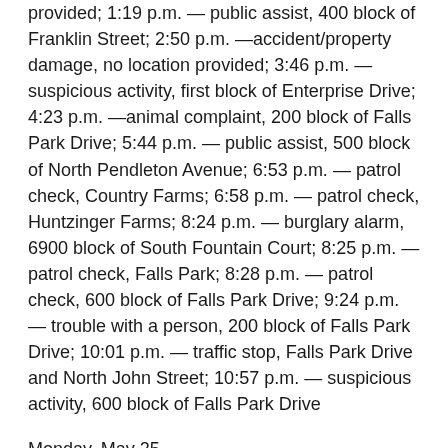provided; 1:19 p.m. — public assist, 400 block of Franklin Street; 2:50 p.m. —accident/property damage, no location provided; 3:46 p.m. — suspicious activity, first block of Enterprise Drive; 4:23 p.m. —animal complaint, 200 block of Falls Park Drive; 5:44 p.m. — public assist, 500 block of North Pendleton Avenue; 6:53 p.m. — patrol check, Country Farms; 6:58 p.m. — patrol check, Huntzinger Farms; 8:24 p.m. — burglary alarm, 6900 block of South Fountain Court; 8:25 p.m. — patrol check, Falls Park; 8:28 p.m. — patrol check, 600 block of Falls Park Drive; 9:24 p.m. — trouble with a person, 200 block of Falls Park Drive; 10:01 p.m. — traffic stop, Falls Park Drive and North John Street; 10:57 p.m. — suspicious activity, 600 block of Falls Park Drive
Monday, May 25
12:51 a.m. — traffic stop, Martin Luther King Jr. Boulevard and Enterprise Drive; 3:15 a.m. — suspicious activity, South